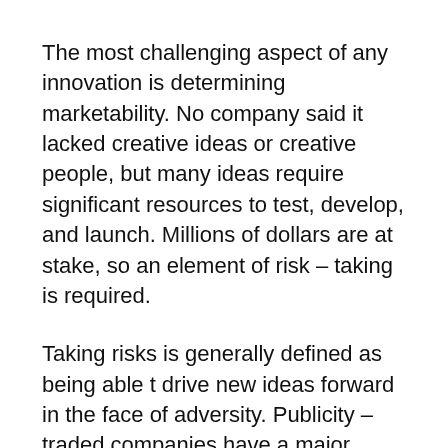The most challenging aspect of any innovation is determining marketability. No company said it lacked creative ideas or creative people, but many ideas require significant resources to test, develop, and launch. Millions of dollars are at stake, so an element of risk – taking is required.
Taking risks is generally defined as being able t drive new ideas forward in the face of adversity. Publicity – traded companies have a major dilemma. To guarantee a leadership position, they have to stay on the leading – edge of innovation. This requires a long-term approach and high tolerance for risk. Investors, especially in a down economy, want short-term results